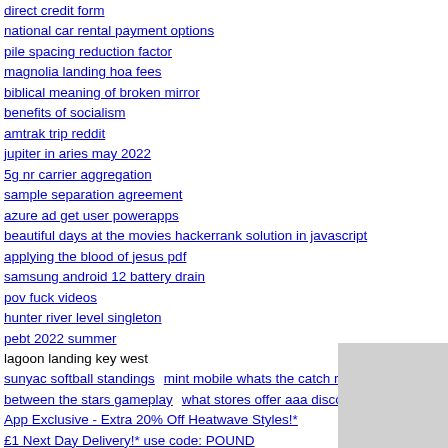direct credit form
national car rental payment options
pile spacing reduction factor
magnolia landing hoa fees
biblical meaning of broken mirror
benefits of socialism
amtrak trip reddit
jupiter in aries may 2022
5g nr carrier aggregation
sample separation agreement
azure ad get user powerapps
beautiful days at the movies hackerrank solution in javascript
applying the blood of jesus pdf
samsung android 12 battery drain
pov fuck videos
hunter river level singleton
pebt 2022 summer
lagoon landing key west
sunyac softball standings  mint mobile whats the catch reddit
between the stars gameplay  what stores offer aaa discounts
App Exclusive - Extra 20% Off Heatwave Styles!*
£1 Next Day Delivery!* use code: POUND
sms mfa attacks
SUBSCRIBE AND GET AN EXTRA 10% OFF!*